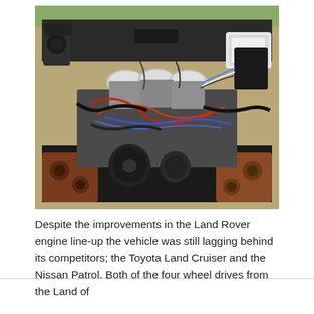[Figure (photo): Engine bay of a Land Rover vehicle showing a complex engine with multiple carburettors, wiring harnesses with red and blue cables, various metal components, hoses, and engine mounts. The vehicle body panels are visible in tan/beige color around the engine bay.]
Despite the improvements in the Land Rover engine line-up the vehicle was still lagging behind its competitors; the Toyota Land Cruiser and the Nissan Patrol. Both of the four wheel drives from the Land of